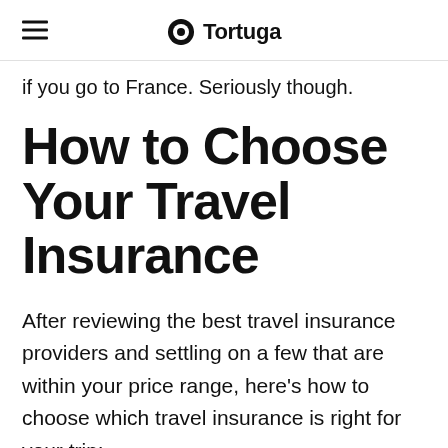Tortuga
if you go to France. Seriously though.
How to Choose Your Travel Insurance
After reviewing the best travel insurance providers and settling on a few that are within your price range, here's how to choose which travel insurance is right for your trip: